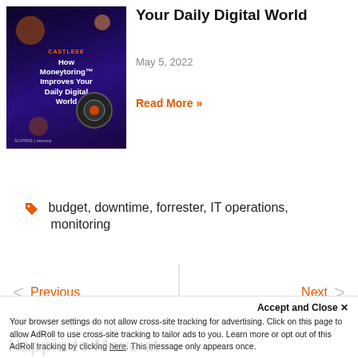[Figure (illustration): Purple/dark space-themed promotional image for Moneytoring showing planets and objects in space. Text reads 'How Moneytoring™ Improves Your Daily Digital World'. Logos for SOPRIS and zenoss at bottom.]
Your Daily Digital World
May 5, 2022
Read More »
budget, downtime, forrester, IT operations, monitoring
Previous
Next
Accept and Close ✕
Your browser settings do not allow cross-site tracking for advertising. Click on this page to allow AdRoll to use cross-site tracking to tailor ads to you. Learn more or opt out of this AdRoll tracking by clicking here. This message only appears once.